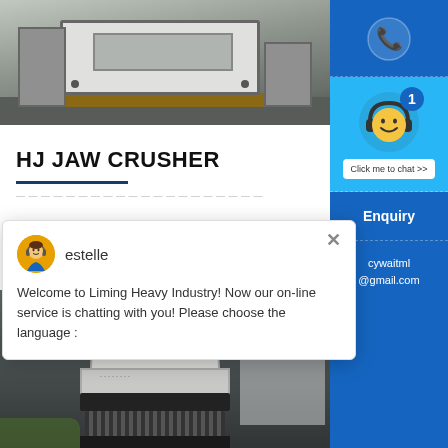[Figure (photo): Industrial jaw crusher machine frame on wooden pallets in a factory/warehouse setting, grey metal frame with bolts visible]
HJ JAW CRUSHER
Welcome to Liming Heavy Industry! Now our on-line service is chatting with you! Please choose the language :
[Figure (photo): Cone crusher machine (white/light grey) in an outdoor industrial setting with a multi-storey building in the background]
[Figure (screenshot): Chat popup with agent avatar (estelle) and Enquiry/email sidebar in blue]
Enquiry
cywaitml @gmail.com